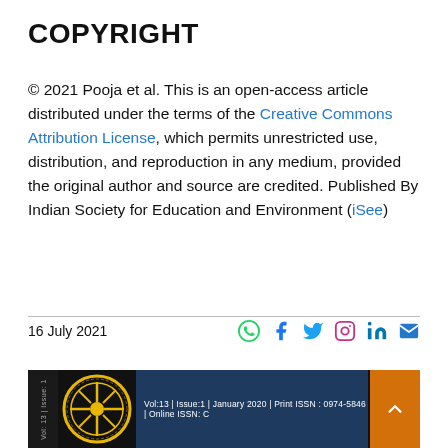COPYRIGHT
© 2021 Pooja et al. This is an open-access article distributed under the terms of the Creative Commons Attribution License, which permits unrestricted use, distribution, and reproduction in any medium, provided the original author and source are credited. Published By Indian Society for Education and Environment (iSee)
16 July 2021
[Figure (other): Social media icons: WhatsApp, Facebook, Twitter, Instagram, LinkedIn, Email]
[Figure (other): Journal banner with logo, Vol:13 | Issue:1 | January 2020 | Print ISSN: 0974-5846 | Online ISSN: [truncated], scroll-to-top button]